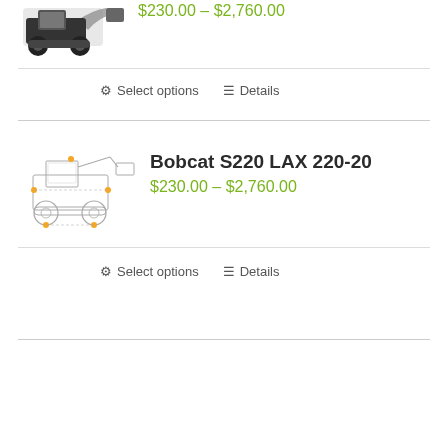[Figure (photo): Bobcat skid steer loader product image, top item (partially visible at top of page)]
$230.00 – $2,760.00
Select options   Details
[Figure (engineering-diagram): Bobcat S220 skid steer loader technical line drawing with dimension markers and yellow dots]
Bobcat S220 LAX 220-20
$230.00 – $2,760.00
Select options   Details